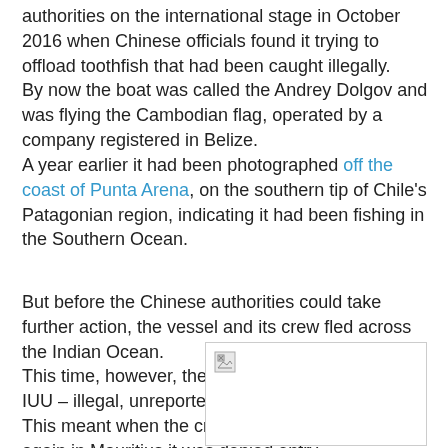authorities on the international stage in October 2016 when Chinese officials found it trying to offload toothfish that had been caught illegally. By now the boat was called the Andrey Dolgov and was flying the Cambodian flag, operated by a company registered in Belize. A year earlier it had been photographed off the coast of Punta Arena, on the southern tip of Chile's Patagonian region, indicating it had been fishing in the Southern Ocean.
But before the Chinese authorities could take further action, the vessel and its crew fled across the Indian Ocean. This time, however, the vessel had been listed as IUU – illegal, unreported and unregulated fishing. This meant when the crew tried to enter the port again in Mauritius it was denied entry.
[Figure (photo): A broken/missing image placeholder shown as a rectangle with border and broken image icon in the top-left corner.]